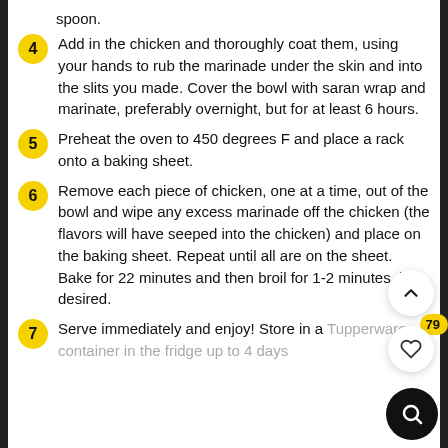spoon.
4 Add in the chicken and thoroughly coat them, using your hands to rub the marinade under the skin and into the slits you made. Cover the bowl with saran wrap and marinate, preferably overnight, but for at least 6 hours.
5 Preheat the oven to 450 degrees F and place a rack onto a baking sheet.
6 Remove each piece of chicken, one at a time, out of the bowl and wipe any excess marinade off the chicken (the flavors will have seeped into the chicken) and place on the baking sheet. Repeat until all are on the sheet. Bake for 22 minutes and then broil for 1-2 minutes, if desired.
7 Serve immediately and enjoy! Store in a Tupperware container in the fridge up to 4 days